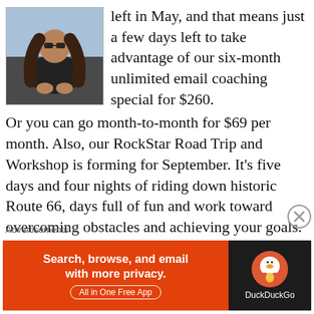[Figure (photo): Person with long hair and sunglasses sitting outdoors]
left in May, and that means just a few days left to take advantage of our six-month unlimited email coaching special for $260. Or you can go month-to-month for $69 per month. Also, our RockStar Road Trip and Workshop is forming for September. It’s five days and four nights of riding down historic Route 66, days full of fun and work toward overcoming obstacles and achieving your goals. To take advantage of these amazing packages, email me at tim@rockerlifecoach.com or call
Advertisements
[Figure (screenshot): DuckDuckGo advertisement banner: Search, browse, and email with more privacy. All in One Free App]